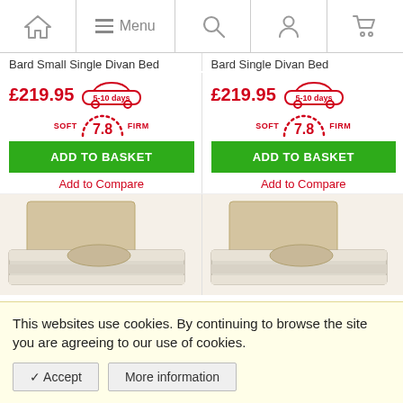Navigation bar with home, menu, search, account, cart icons
Bard Small Single Divan Bed
Bard Single Divan Bed
£219.95  5-10 days
£219.95  5-10 days
SOFT 7.8 FIRM
SOFT 7.8 FIRM
ADD TO BASKET
ADD TO BASKET
Add to Compare
Add to Compare
[Figure (photo): Photo of a divan bed with beige headboard and white striped mattress with pillow, left product]
[Figure (photo): Photo of a divan bed with beige headboard and white striped mattress with pillow, right product]
This websites use cookies. By continuing to browse the site you are agreeing to our use of cookies.